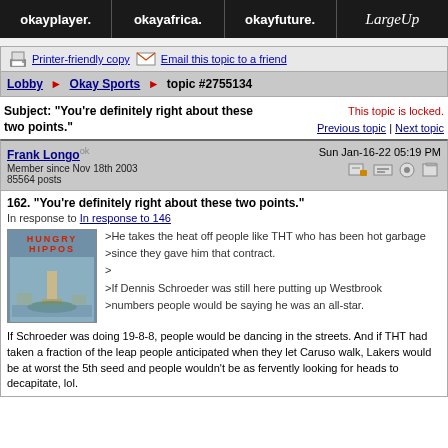okayplayer. | okayafrica. | okayfuture. | LargeUp
Printer-friendly copy | Email this topic to a friend
Lobby > Okay Sports > topic #2755134
Subject: "You're definitely right about these two points." | This topic is locked. Previous topic | Next topic
Frank Longo ok
Member since Nov 18th 2003
85564 posts
Sun Jan-16-22 05:19 PM
162. "You're definitely right about these two points."
In response to In response to 146
>He takes the heat off people like THT who has been hot garbage
>since they gave him that contract.
>
>If Dennis Schroeder was still here putting up Westbrook
>numbers people would be saying he was an all-star.

If Schroeder was doing 19-8-8, people would be dancing in the streets. And if THT had taken a fraction of the leap people anticipated when they let Caruso walk, Lakers would be at worst the 5th seed and people wouldn't be as fervently looking for heads to decapitate, lol.